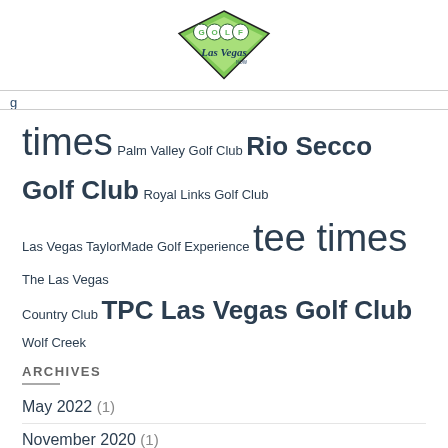[Figure (logo): Golf Las Vegas NOW logo — green diamond/shield shape with GOLF lettering and Las Vegas script text]
times Palm Valley Golf Club Rio Secco Golf Club Royal Links Golf Club Las Vegas TaylorMade Golf Experience tee times The Las Vegas Country Club TPC Las Vegas Golf Club Wolf Creek
ARCHIVES
May 2022 (1)
November 2020 (1)
October 2020 (2)
March 2020 (1)